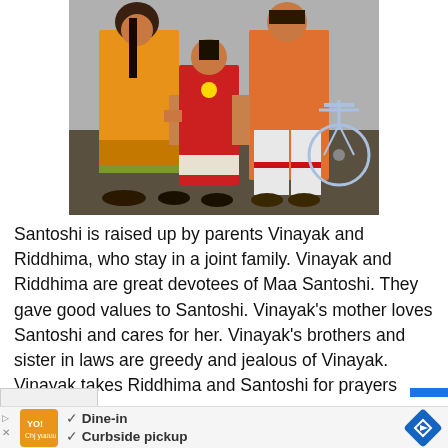[Figure (photo): An Indian family of three — a woman in orange/yellow saree, a young girl in red traditional dress, and a man in orange kurta — holding hands and walking, with a bicycle in the background.]
Santoshi is raised up by parents Vinayak and Riddhima, who stay in a joint family. Vinayak and Riddhima are great devotees of Maa Santoshi. They gave good values to Santoshi. Vinayak's mother loves Santoshi and cares for her. Vinayak's brothers and sister in laws are greedy and jealous of Vinayak. Vinayak takes Riddhima and Santoshi for prayers
[Figure (other): Advertisement banner showing a restaurant logo, checkmarks next to 'Dine-in' and 'Curbside pickup' text, and a blue navigation icon on the right.]